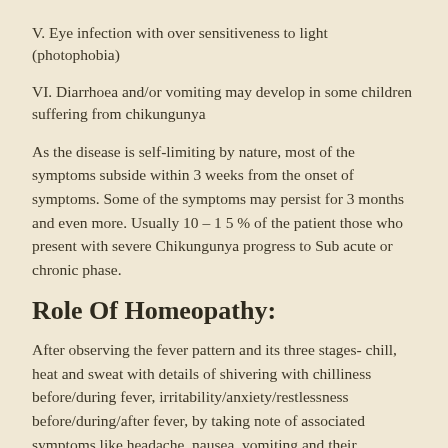V. Eye infection with over sensitiveness to light (photophobia)
VI. Diarrhoea and/or vomiting may develop in some children suffering from chikungunya
As the disease is self-limiting by nature, most of the symptoms subside within 3 weeks from the onset of symptoms. Some of the symptoms may persist for 3 months and even more. Usually 10 – 1 5 % of the patient those who present with severe Chikungunya progress to Sub acute or chronic phase.
Role Of Homeopathy:
After observing the fever pattern and its three stages- chill, heat and sweat with details of shivering with chilliness before/during fever, irritability/anxiety/restlessness before/during/after fever, by taking note of associated symptoms like headache, nausea, vomiting and their aggravating and ameliorating factors, desire for water during/after fever the homeopathic medicine is